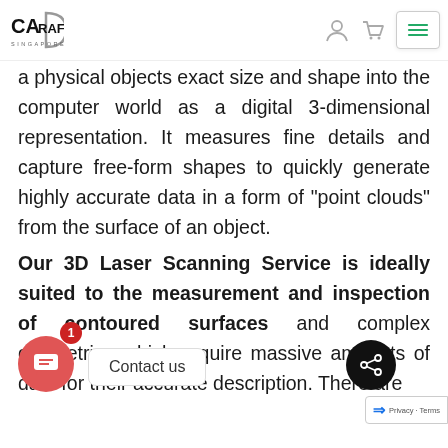CA Drafting Singapore — navigation header with logo, user icon, cart icon, and hamburger menu
a physical objects exact size and shape into the computer world as a digital 3-dimensional representation. It measures fine details and capture free-form shapes to quickly generate highly accurate data in a form of "point clouds" from the surface of an object.
Our 3D Laser Scanning Service is ideally suited to the measurement and inspection of contoured surfaces and complex geometries which require massive amounts of data for their accurate description. There are